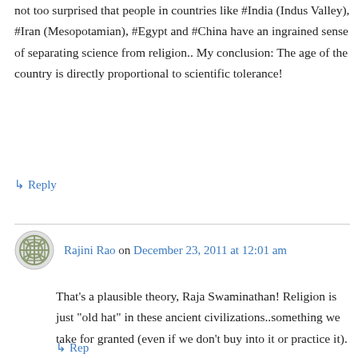not too surprised that people in countries like #India (Indus Valley), #Iran (Mesopotamian), #Egypt and #China have an ingrained sense of separating science from religion.. My conclusion: The age of the country is directly proportional to scientific tolerance!
↳ Reply
Rajini Rao on December 23, 2011 at 12:01 am
That’s a plausible theory, Raja Swaminathan! Religion is just “old hat” in these ancient civilizations..something we take for granted (even if we don’t buy into it or practice it).
↳ Reply